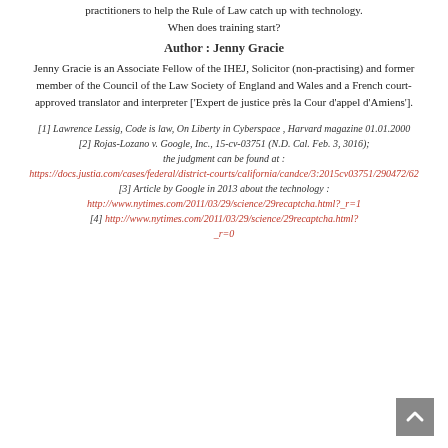practitioners to help the Rule of Law catch up with technology. When does training start?
Author : Jenny Gracie
Jenny Gracie is an Associate Fellow of the IHEJ, Solicitor (non-practising) and former member of the Council of the Law Society of England and Wales and a French court-approved translator and interpreter ['Expert de justice près la Cour d'appel d'Amiens'].
[1] Lawrence Lessig, Code is law, On Liberty in Cyberspace , Harvard magazine 01.01.2000
[2] Rojas-Lozano v. Google, Inc., 15-cv-03751 (N.D. Cal. Feb. 3, 3016); the judgment can be found at : https://docs.justia.com/cases/federal/district-courts/california/candce/3:2015cv03751/290472/62
[3] Article by Google in 2013 about the technology : http://www.nytimes.com/2011/03/29/science/29recaptcha.html?_r=1
[4] http://www.nytimes.com/2011/03/29/science/29recaptcha.html?_r=0